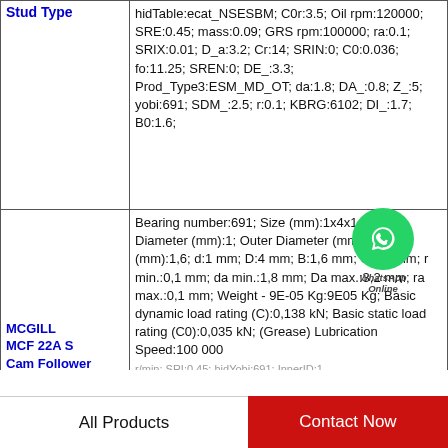| Stud Type |  |
| --- | --- |
| Stud Type | hidTable:ecat_NSESBM; C0r:3.5; Oil rpm:120000; SRE:0.45; mass:0.09; GRS rpm:100000; ra:0.1; SRIX:0.01; D_a:3.2; Cr:14; SRIN:0; C0:0.036; fo:11.25; SREN:0; DE_:3.3; Prod_Type3:ESM_MD_OT; da:1.8; DA_:0.8; Z_:5; yobi:691; SDM_:2.5; r:0.1; KBRG:6102; DI_:1.7; B0:1.6; |
| MCGILL MCF 22A S Cam Follower [type] | Bearing number:691; Size (mm):1x4x1.6; Bore Diameter (mm):1; Outer Diameter (mm):4; Width (mm):1,6; d:1 mm; D:4 mm; B:1,6 mm; C:1,6 mm; r min.:0,1 mm; da min.:1,8 mm; Da max.:3,2 mm; ra max.:0,1 mm; Weight - 9E-05 Kg:9E05 Kg; Basic dynamic load rating (C):0,138 kN; Basic static load rating (C0):0,035 kN; (Grease) Lubrication Speed:100 000 r/min; SRI:0.45; hidYobi:691; InnerID:1... |
All Products   Contact Now